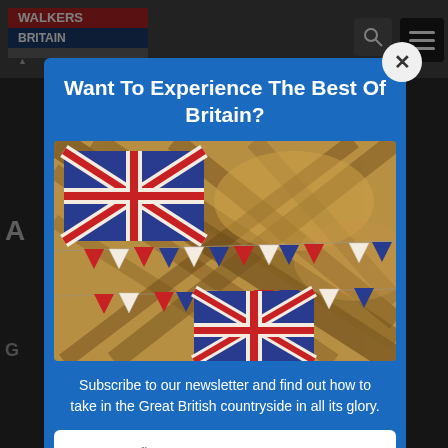[Figure (screenshot): Walkers Britain website screenshot showing a modal popup overlay with Union Jack bunting image]
Want To Experience The Best Of Britain?
[Figure (photo): Photo of Union Jack flags and red, white and blue bunting hanging indoors under a wooden roof structure]
Subscribe to our newsletter and find out how to take in the Great British countryside in all its glory.
Type your first name